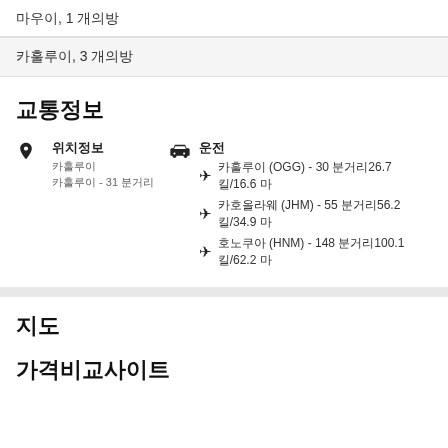마우이, 1 개의방
카훌루이, 3 개의방
교통정보
위치정보
카훌루이
카훌루이 - 31 분거리
운전
카훌루이 (OGG) - 30 분거리26.7 킬/16.6 마
카호올라웨 (JHM) - 55 분거리56.2 킬/34.9 마
호노쿠아 (HNM) - 148 분거리100.1 킬/62.2 마
지도
가격비교사이트